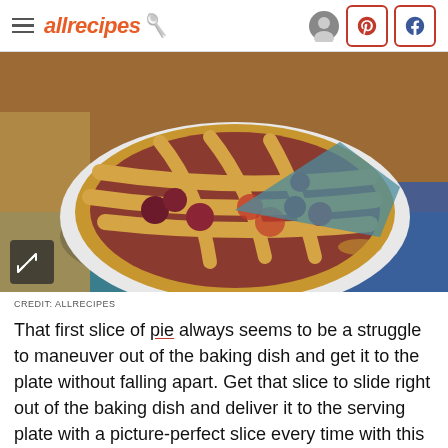allrecipes
[Figure (photo): A lattice-top berry and fruit pie in a white pie dish, with a slice partially removed, set on a blue floral cloth and woven mat.]
CREDIT: ALLRECIPES
That first slice of pie always seems to be a struggle to maneuver out of the baking dish and get it to the plate without falling apart. Get that slice to slide right out of the baking dish and deliver it to the serving plate with a picture-perfect slice every time with this hacks that